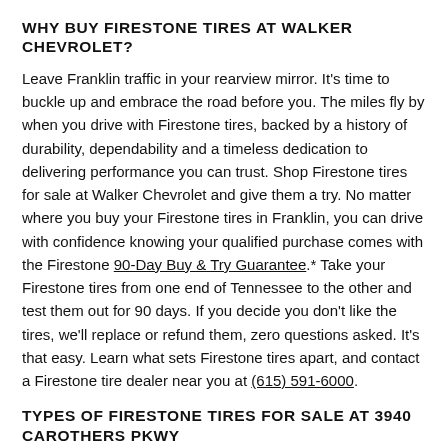WHY BUY FIRESTONE TIRES AT WALKER CHEVROLET?
Leave Franklin traffic in your rearview mirror. It's time to buckle up and embrace the road before you. The miles fly by when you drive with Firestone tires, backed by a history of durability, dependability and a timeless dedication to delivering performance you can trust. Shop Firestone tires for sale at Walker Chevrolet and give them a try. No matter where you buy your Firestone tires in Franklin, you can drive with confidence knowing your qualified purchase comes with the Firestone 90-Day Buy & Try Guarantee.* Take your Firestone tires from one end of Tennessee to the other and test them out for 90 days. If you decide you don't like the tires, we'll replace or refund them, zero questions asked. It's that easy. Learn what sets Firestone tires apart, and contact a Firestone tire dealer near you at (615) 591-6000.
TYPES OF FIRESTONE TIRES FOR SALE AT 3940 CAROTHERS PKWY
Whether you drive a car, light truck, SUV or minivan, picking